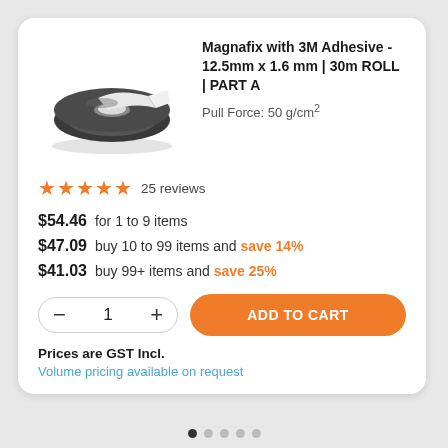[Figure (photo): A roll of magnetic tape (Magnafix) shown from the side, dark grey/black color with white adhesive backing, coiled in a disc shape.]
Magnafix with 3M Adhesive - 12.5mm x 1.6 mm | 30m ROLL | PART A
Pull Force: 50 g/cm²
★★★★★ 25 reviews
$54.46  for 1 to 9 items
$47.09  buy 10 to 99 items and save 14%
$41.03  buy 99+ items and save 25%
− 1 +   ADD TO CART
Prices are GST Incl.
Volume pricing available on request